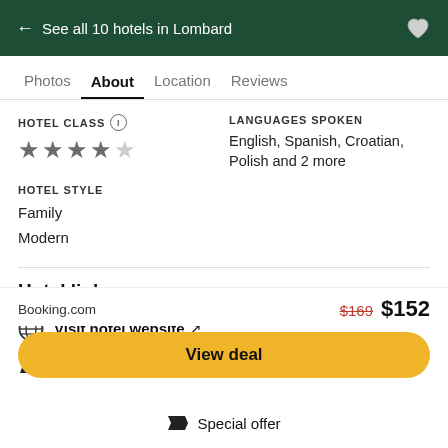← See all 10 hotels in Lombard
Photos   About   Location   Reviews
HOTEL CLASS ⓘ — 4 stars (4 out of 5)
LANGUAGES SPOKEN
English, Spanish, Croatian, Polish and 2 more
HOTEL STYLE
Family
Modern
Hotel links
Visit hotel website ↗
Special Offer: Unlock Member Rates!
Booking.com   $169  $152
View deal
Special offer